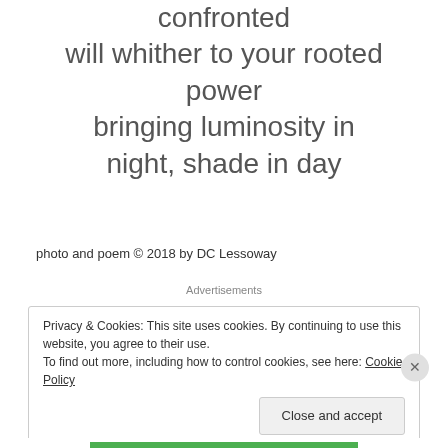confronted
will whither to your rooted power
bringing luminosity in night, shade in day
photo and poem © 2018 by DC Lessoway
Advertisements
Privacy & Cookies: This site uses cookies. By continuing to use this website, you agree to their use.
To find out more, including how to control cookies, see here: Cookie Policy
Close and accept